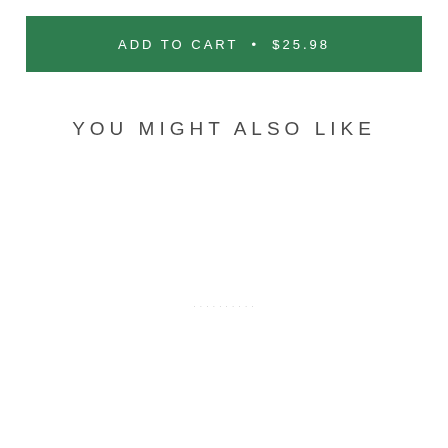ADD TO CART • $25.98
YOU MIGHT ALSO LIKE